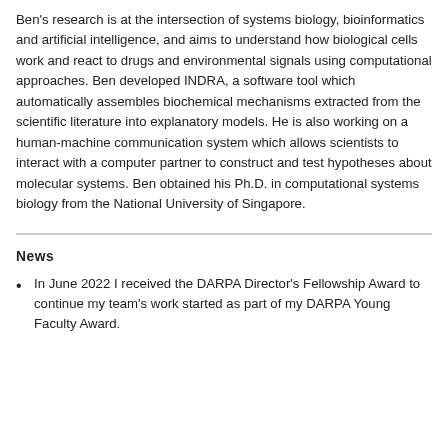Ben's research is at the intersection of systems biology, bioinformatics and artificial intelligence, and aims to understand how biological cells work and react to drugs and environmental signals using computational approaches. Ben developed INDRA, a software tool which automatically assembles biochemical mechanisms extracted from the scientific literature into explanatory models. He is also working on a human-machine communication system which allows scientists to interact with a computer partner to construct and test hypotheses about molecular systems. Ben obtained his Ph.D. in computational systems biology from the National University of Singapore.
News
In June 2022 I received the DARPA Director's Fellowship Award to continue my team's work started as part of my DARPA Young Faculty Award.